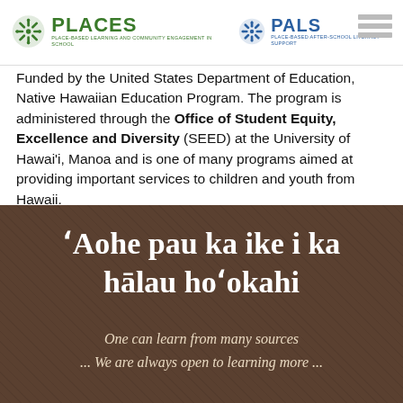[Figure (logo): PLACES logo — green snowflake icon with text PLACES and subtitle 'Place-Based Learning and Community Engagement in School']
[Figure (logo): PALS logo — blue snowflake icon with text PALS and subtitle 'Place-Based After-School Literacy Support']
Funded by the United States Department of Education, Native Hawaiian Education Program. The program is administered through the Office of Student Equity, Excellence and Diversity (SEED) at the University of Hawai'i, Manoa and is one of many programs aimed at providing important services to children and youth from Hawaii.
[Figure (infographic): Dark brown textured background banner with Hawaiian proverb in large white serif text: 'ʻAohe pau ka ike i ka hālau hoʻokahi' and English translation in italic: 'One can learn from many sources ... We are always open to learning more ...']